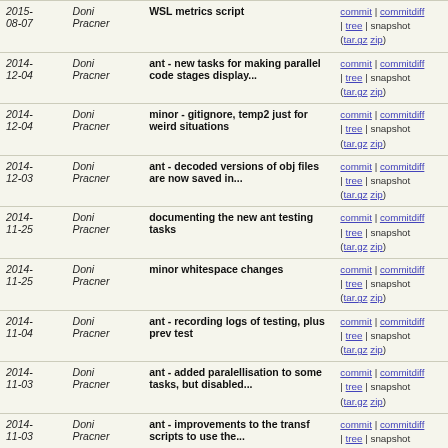| Date | Author | Message | Links |
| --- | --- | --- | --- |
| 2015-08-07 | Doni Pracner | WSL metrics script | commit | commitdiff | tree | snapshot (tar.gz zip) |
| 2014-12-04 | Doni Pracner | ant - new tasks for making parallel code stages display... | commit | commitdiff | tree | snapshot (tar.gz zip) |
| 2014-12-04 | Doni Pracner | minor - gitignore, temp2 just for weird situations | commit | commitdiff | tree | snapshot (tar.gz zip) |
| 2014-12-03 | Doni Pracner | ant - decoded versions of obj files are now saved in... | commit | commitdiff | tree | snapshot (tar.gz zip) |
| 2014-11-25 | Doni Pracner | documenting the new ant testing tasks | commit | commitdiff | tree | snapshot (tar.gz zip) |
| 2014-11-25 | Doni Pracner | minor whitespace changes | commit | commitdiff | tree | snapshot (tar.gz zip) |
| 2014-11-04 | Doni Pracner | ant - recording logs of testing, plus prev test | commit | commitdiff | tree | snapshot (tar.gz zip) |
| 2014-11-03 | Doni Pracner | ant - added paralellisation to some tasks, but disabled... | commit | commitdiff | tree | snapshot (tar.gz zip) |
| 2014-11-03 | Doni Pracner | ant - improvements to the transf scripts to use the... | commit | commitdiff | tree | snapshot (tar.gz zip) |
| 2014-11-03 | Doni Pracner | transf script now takes arguments from the command... | commit | commitdiff | tree | snapshot (tar.gz zip) |
| 2014-10-26 | Doni Pracner | test files for the samples | commit | commitdiff | tree | snapshot (tar.gz zip) |
| 2014-10-26 | Doni Pracner | ant - automatic testing tasks, for MJ-WSL and WSL-WSL T | commit | commitdiff | tree | snapshot (tar.gz zip) |